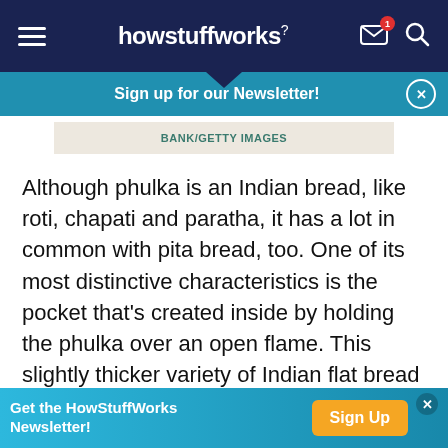howstuffworks
Sign up for our Newsletter!
BANK/GETTY IMAGES
Although phulka is an Indian bread, like roti, chapati and paratha, it has a lot in common with pita bread, too. One of its most distinctive characteristics is the pocket that's created inside by holding the phulka over an open flame. This slightly thicker variety of Indian flat bread is a great choice as a base for vegetarian fillings, like hummus and eggplant. Although sometimes chapati bread is made to
Get the HowStuffWorks Newsletter! Sign Up